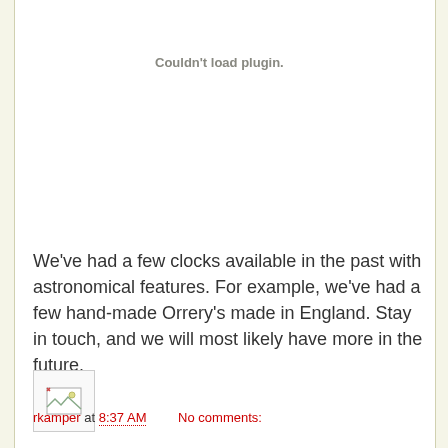Couldn't load plugin.
We've had a few clocks available in the past with astronomical features. For example, we've had a few hand-made Orrery's made in England. Stay in touch, and we will most likely have more in the future.
[Figure (other): Broken image placeholder icon — small square with image icon]
rkamper at 8:37 AM    No comments:
Share